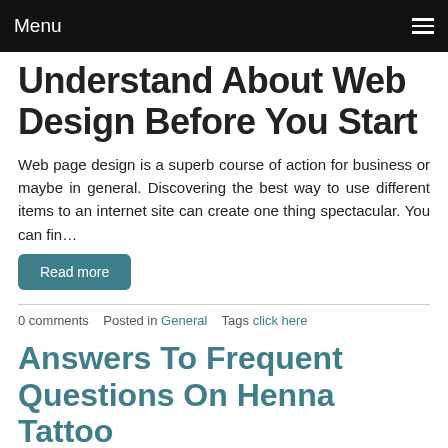Menu
Understand About Web Design Before You Start
Web page design is a superb course of action for business or maybe in general. Discovering the best way to use different items to an internet site can create one thing spectacular. You can fin…
Read more
0 comments   Posted in General   Tags click here
Answers To Frequent Questions On Henna Tattoo